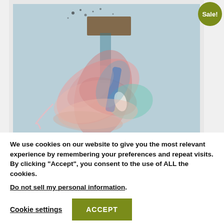[Figure (photo): A framed mixed-media artwork with a white frame, featuring abstract textiles and materials in pink, blue, teal, and brown colors on a light blue background. A circular 'Sale!' badge appears in the top right corner.]
We use cookies on our website to give you the most relevant experience by remembering your preferences and repeat visits. By clicking “Accept”, you consent to the use of ALL the cookies.
Do not sell my personal information.
Cookie settings
ACCEPT